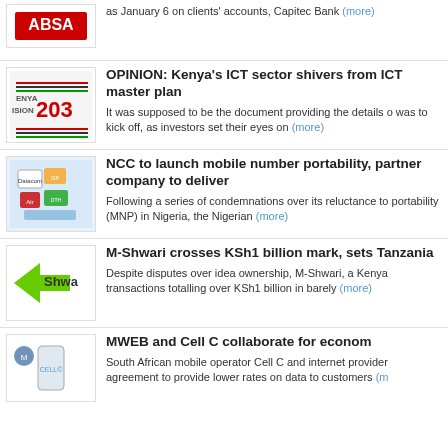[Figure (photo): ABSA bank logo]
as January 6 on clients' accounts, Capitec Bank (more)
[Figure (photo): Kenya Vision 2030 logo]
OPINION: Kenya’s ICT sector shivers from ICT master plan
It was supposed to be the document providing the details of was to kick off, as investors set their eyes on (more)
[Figure (photo): NCC mobile number portability graphic]
NCC to launch mobile number portability, partner company to deliver
Following a series of condemnations over its reluctance to portability (MNP) in Nigeria, the Nigerian (more)
[Figure (logo): M-Shwari logo]
M-Shwari crosses KSh1 billion mark, sets Tanzania
Despite disputes over idea ownership, M-Shwari, a Kenya transactions totalling over KSh1 billion in barely (more)
[Figure (photo): MWEB and Cell C modem photo]
MWEB and Cell C collaborate for economy
South African mobile operator Cell C and internet provider agreement to provide lower rates on data to customers (more)